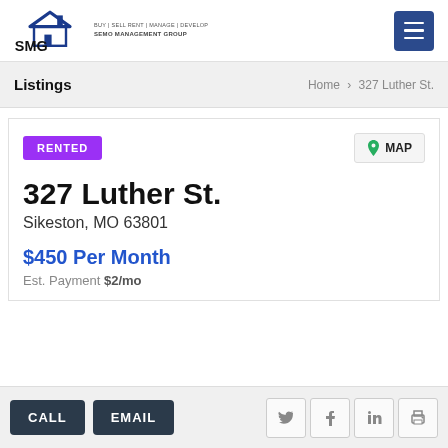[Figure (logo): SMG Realty logo with house icon and text 'BUY | SELL RENT | MANAGE | DEVELOP SEMO MANAGEMENT GROUP']
Listings | Home > 327 Luther St.
RENTED
MAP
327 Luther St.
Sikeston, MO 63801
$450 Per Month
Est. Payment $2/mo
CALL  EMAIL  [social icons: Twitter, Facebook, LinkedIn, Print]